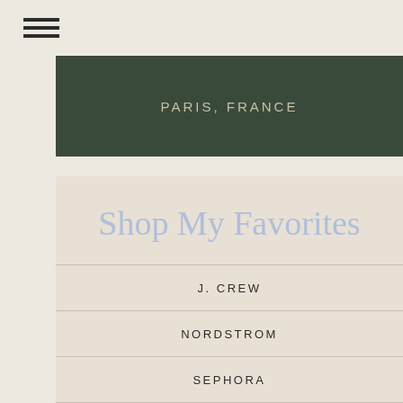[Figure (other): Hamburger menu icon (three horizontal lines)]
PARIS, FRANCE
Shop My Favorites
J. CREW
NORDSTROM
SEPHORA
TOPSHOP
NET-A-PORTER
ASOS